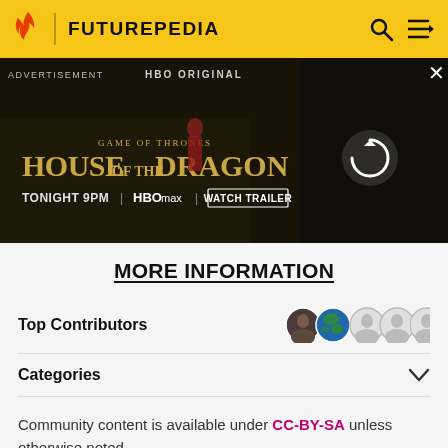FUTUREPEDIA
[Figure (screenshot): HBO Original advertisement for House of the Dragon — Game of Thrones. Tonight 9PM | HBO Max | Watch Trailer. Shows a character in red dress in front of a dragon. Right side has a loading/refresh circle icon on a dark background.]
MORE INFORMATION
Top Contributors
Categories
Community content is available under CC-BY-SA unless otherwise noted.